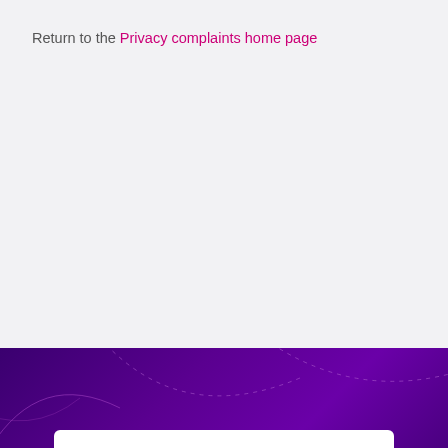Return to the Privacy complaints home page
Purple footer banner with decorative dashed arc lines